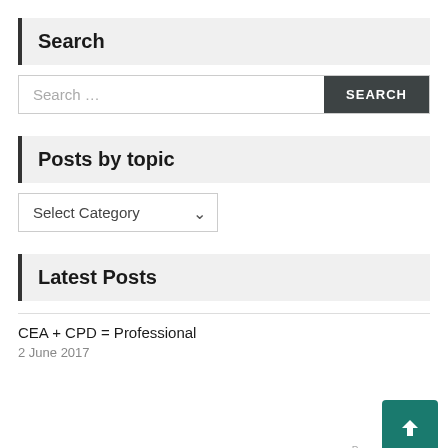Search
Search ...
Posts by topic
Select Category
Latest Posts
CEA + CPD = Professional
2 June 2017